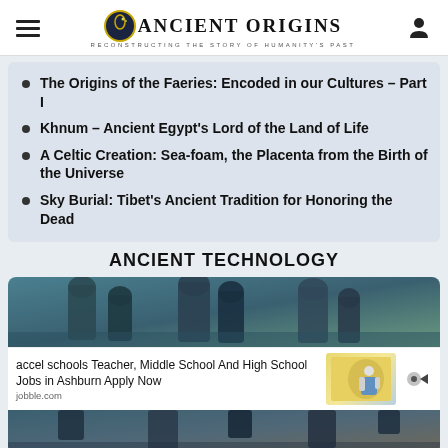Ancient Origins — Reconstructing the story of humanity's past
The Origins of the Faeries: Encoded in our Cultures – Part I
Khnum – Ancient Egypt's Lord of the Land of Life
A Celtic Creation: Sea-foam, the Placenta from the Birth of the Universe
Sky Burial: Tibet's Ancient Tradition for Honoring the Dead
ANCIENT TECHNOLOGY
[Figure (photo): Ancient stone statues partially submerged or eroded, viewed in dim bluish-green light]
accel schools Teacher, Middle School And High School Jobs in Ashburn Apply Now
jobble.com